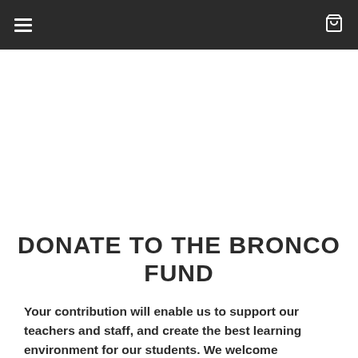☰ [cart icon]
DONATE TO THE BRONCO FUND
Your contribution will enable us to support our teachers and staff, and create the best learning environment for our students. We welcome